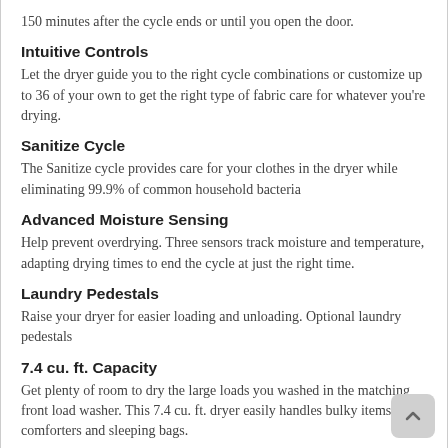150 minutes after the cycle ends or until you open the door.
Intuitive Controls
Let the dryer guide you to the right cycle combinations or customize up to 36 of your own to get the right type of fabric care for whatever you're drying.
Sanitize Cycle
The Sanitize cycle provides care for your clothes in the dryer while eliminating 99.9% of common household bacteria
Advanced Moisture Sensing
Help prevent overdrying. Three sensors track moisture and temperature, adapting drying times to end the cycle at just the right time.
Laundry Pedestals
Raise your dryer for easier loading and unloading. Optional laundry pedestals
7.4 cu. ft. Capacity
Get plenty of room to dry the large loads you washed in the matching front load washer. This 7.4 cu. ft. dryer easily handles bulky items like comforters and sleeping bags.